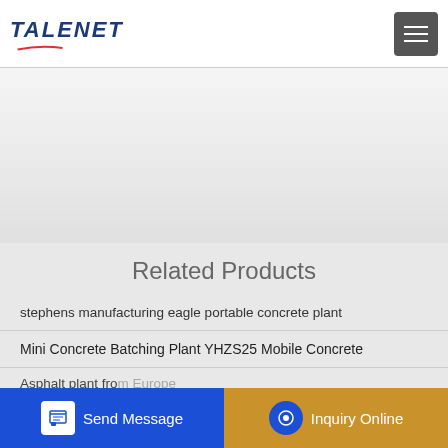TALENET
Related Products
stephens manufacturing eagle portable concrete plant
Mini Concrete Batching Plant YHZS25 Mobile Concrete
Asphalt plant from Europe
China Customized 8x4 HOWO CONCRETE MIXER TRUCK